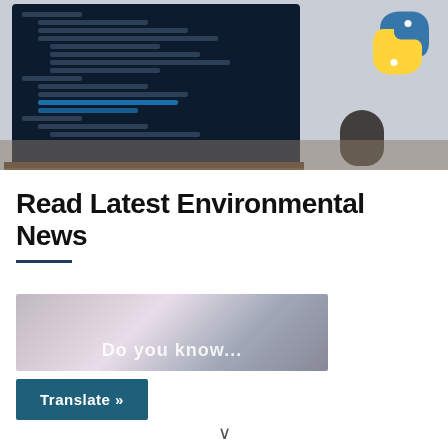[Figure (photo): Laptop with code editor displaying Python code on screen, Python logo visible in top-right corner, mouse on desk, blurred background]
Read Latest Environmental News
[Figure (photo): Partially visible blurred image with overlaid text beginning with 'Do you...' or similar]
Translate »